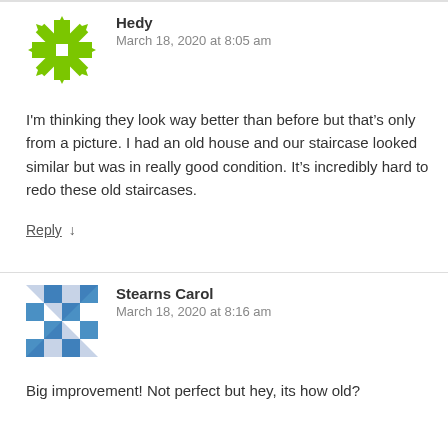[Figure (illustration): Green geometric snowflake/asterisk avatar icon for user Hedy]
Hedy
March 18, 2020 at 8:05 am
I'm thinking they look way better than before but that's only from a picture. I had an old house and our staircase looked similar but was in really good condition. It's incredibly hard to redo these old staircases.
Reply ↓
[Figure (illustration): Blue and white checkered/geometric avatar icon for user Stearns Carol]
Stearns Carol
March 18, 2020 at 8:16 am
Big improvement! Not perfect but hey, its how old?